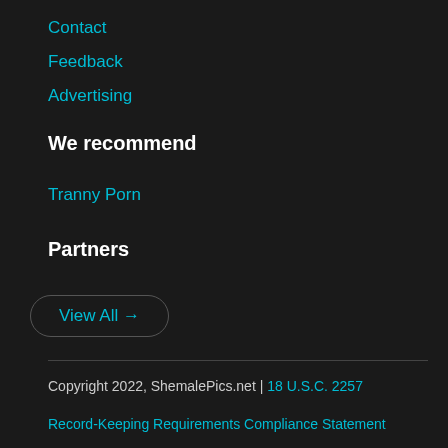Contact
Feedback
Advertising
We recommend
Tranny Porn
Partners
View All →
Copyright 2022, ShemalePics.net | 18 U.S.C. 2257
Record-Keeping Requirements Compliance Statement